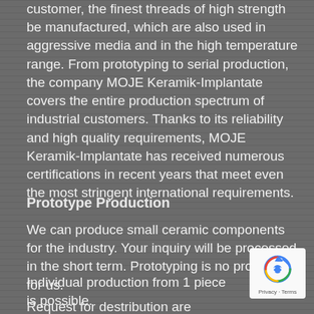customer, the finest threads of high strength be manufactured, which are also used in aggressive media and in the high temperature range. From prototyping to serial production, the company MOJE Keramik-Implantate covers the entire production spectrum of industrial customers. Thanks to its reliability and high quality requirements, MOJE Keramik-Implantate has received numerous certifications in recent years that meet even the most stringent international requirements.
Prototype Production
We can produce small ceramic components for the industry. Your inquiry will be processed in the short term. Prototyping is no problem for us.
Individual production from 1 piece is possible.
Request for destribution are welcome.
[Figure (logo): Google reCAPTCHA badge with recycling-arrow logo and Privacy · Terms text]